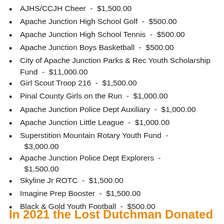AJHS/CCJH Cheer  -  $1,500.00
Apache Junction High School Golf  -  $500.00
Apache Junction High School Tennis  -  $500.00
Apache Junction Boys Basketball  -  $500.00
City of Apache Junction Parks & Rec Youth Scholarship Fund  -  $11,000.00
Girl Scout Troop 216  -  $1,500.00
Pinal County Girls on the Run  -  $1,000.00
Apache Junction Police Dept Auxiliary  -  $1,000.00
Apache Junction Little League  -  $1,000.00
Superstition Mountain Rotary Youth Fund  -  $3,000.00
Apache Junction Police Dept Explorers  -  $1,500.00
Skyline Jr ROTC  -  $1,500.00
Imagine Prep Booster  -  $1,500.00
Black & Gold Youth Football  -  $500.00
In 2021 the Lost Dutchman Donated